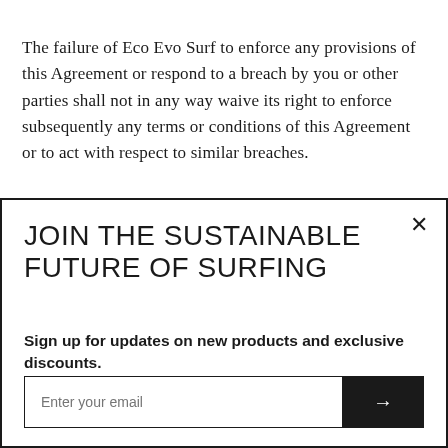The failure of Eco Evo Surf to enforce any provisions of this Agreement or respond to a breach by you or other parties shall not in any way waive its right to enforce subsequently any terms or conditions of this Agreement or to act with respect to similar breaches.
JOIN THE SUSTAINABLE FUTURE OF SURFING
Sign up for updates on new products and exclusive discounts.